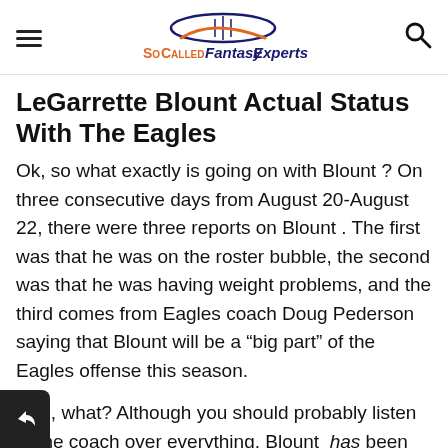SoCalled Fantasy Experts
LeGarrette Blount Actual Status With The Eagles
Ok, so what exactly is going on with Blount ? On three consecutive days from August 20-August 22, there were three reports on Blount . The first was that he was on the roster bubble, the second was that he was having weight problems, and the third comes from Eagles coach Doug Pederson saying that Blount will be a “big part” of the Eagles offense this season.
Like, what? Although you should probably listen to the coach over everything, Blount has been terrible so far this preseason. However, Fantasy owners likely spent a decently high pick on him after a great